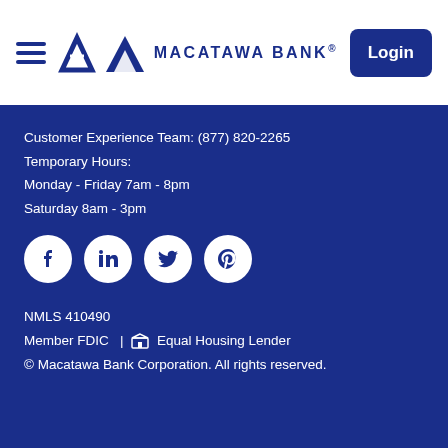Macatawa Bank® — Login
Customer Experience Team: (877) 820-2265
Temporary Hours:
Monday - Friday 7am - 8pm
Saturday 8am - 3pm
[Figure (illustration): Social media icons: Facebook, LinkedIn, Twitter, Pinterest — white on dark blue circles]
NMLS 410490
Member FDIC  |  Equal Housing Lender
© Macatawa Bank Corporation. All rights reserved.